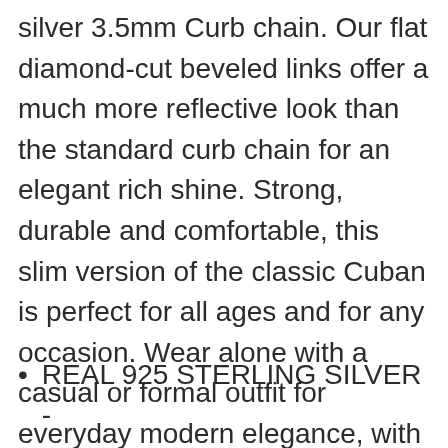silver 3.5mm Curb chain. Our flat diamond-cut beveled links offer a much more reflective look than the standard curb chain for an elegant rich shine. Strong, durable and comfortable, this slim version of the classic Cuban is perfect for all ages and for any occasion. Wear alone with a casual or formal outfit for everyday modern elegance, with your favorite pendant for a personal statement or as a great layering chain.
REAL 925 STERLING SILVER -